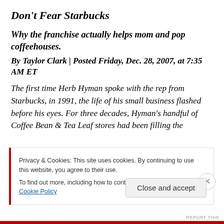Don't Fear Starbucks
Why the franchise actually helps mom and pop coffeehouses.
By Taylor Clark | Posted Friday, Dec. 28, 2007, at 7:35 AM ET
The first time Herb Hyman spoke with the rep from Starbucks, in 1991, the life of his small business flashed before his eyes. For three decades, Hyman's handful of Coffee Bean & Tea Leaf stores had been filling the
Privacy & Cookies: This site uses cookies. By continuing to use this website, you agree to their use.
To find out more, including how to control cookies, see here: Cookie Policy
Close and accept